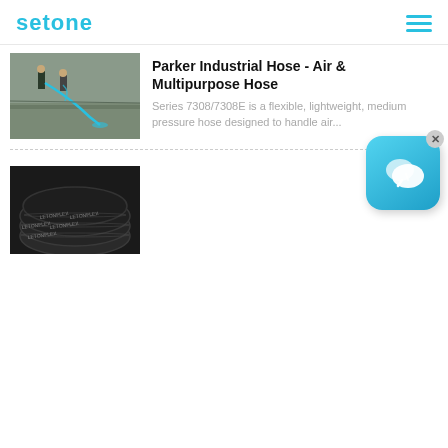setone
[Figure (photo): Outdoor photo of workers pressure washing or cleaning a concrete surface with a hose.]
Parker Industrial Hose - Air & Multipurpose Hose
Series 7308/7308E is a flexible, lightweight, medium pressure hose designed to handle air...
[Figure (photo): Close-up photo of black industrial rubber hoses (LetonFlex brand) coiled together.]